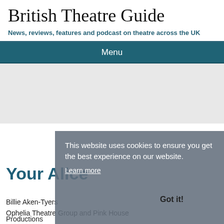British Theatre Guide
News, reviews, features and podcast on theatre across the UK
Menu
This website uses cookies to ensure you get the best experience on our website.
Learn more
Your Alice
Billie Aken-Tyers
Ophelia Theatre Group and Pink House Productions